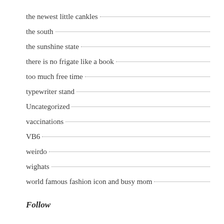the newest little cankles
the south
the sunshine state
there is no frigate like a book
too much free time
typewriter stand
Uncategorized
vaccinations
VB6
weirdo
wighats
world famous fashion icon and busy mom
Follow